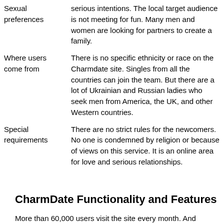| Sexual preferences | serious intentions. The local target audience is not meeting for fun. Many men and women are looking for partners to create a family. |
| Where users come from | There is no specific ethnicity or race on the Charmdate site. Singles from all the countries can join the team. But there are a lot of Ukrainian and Russian ladies who seek men from America, the UK, and other Western countries. |
| Special requirements | There are no strict rules for the newcomers. No one is condemned by religion or because of views on this service. It is an online area for love and serious relationships. |
CharmDate Functionality and Features
More than 60,000 users visit the site every month. And...